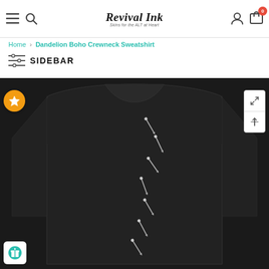Revival Ink — Skins for the Alt Heart
Home > Dandelion Boho Crewneck Sweatshirt
SIDEBAR
[Figure (photo): Black crewneck sweatshirt with dandelion boho design, shown from the front on a dark background. There are small pin/needle decorative elements arranged diagonally across the chest area.]